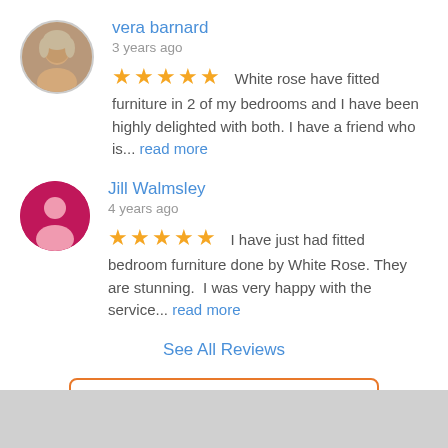vera barnard
3 years ago
White rose have fitted furniture in 2 of my bedrooms and I have been highly delighted with both. I have a friend who is... read more
Jill Walmsley
4 years ago
I have just had fitted bedroom furniture done by White Rose. They are stunning. I was very happy with the service... read more
See All Reviews
Leave a review...